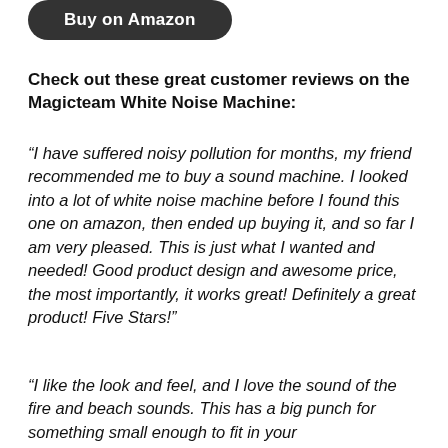[Figure (other): Dark rounded button with text 'Buy on Amazon']
Check out these great customer reviews on the Magicteam White Noise Machine:
“I have suffered noisy pollution for months, my friend recommended me to buy a sound machine. I looked into a lot of white noise machine before I found this one on amazon, then ended up buying it, and so far I am very pleased. This is just what I wanted and needed! Good product design and awesome price, the most importantly, it works great! Definitely a great product! Five Stars!”
“I like the look and feel, and I love the sound of the fire and beach sounds. This has a big punch for something small enough to fit in your